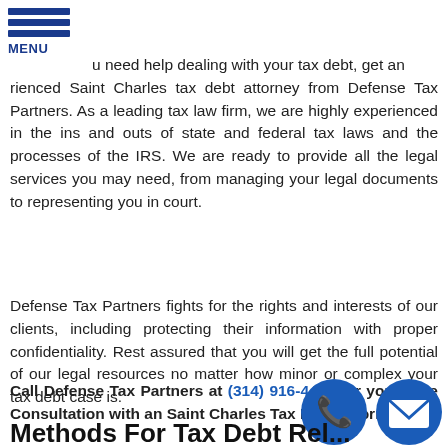MENU
u need help dealing with your tax debt, get an rienced Saint Charles tax debt attorney from Defense Tax Partners. As a leading tax law firm, we are highly experienced in the ins and outs of state and federal tax laws and the processes of the IRS. We are ready to provide all the legal services you may need, from managing your legal documents to representing you in court.
Defense Tax Partners fights for the rights and interests of our clients, including protecting their information with proper confidentiality. Rest assured that you will get the full potential of our legal resources no matter how minor or complex your tax debt case is.
Call Defense Tax Partners at (314) 916-4474 for your Free Consultation with an Saint Charles Tax Debt Attorney!
Methods For Tax Debt Rel...